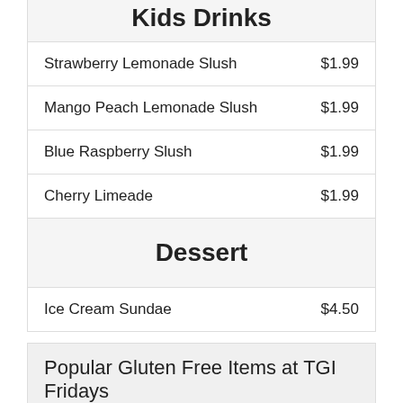Kids Drinks
| Item | Price |
| --- | --- |
| Strawberry Lemonade Slush | $1.99 |
| Mango Peach Lemonade Slush | $1.99 |
| Blue Raspberry Slush | $1.99 |
| Cherry Limeade | $1.99 |
Dessert
| Item | Price |
| --- | --- |
| Ice Cream Sundae | $4.50 |
Popular Gluten Free Items at TGI Fridays
Whether you're looking for a light or a hearty meal, TGI Fridays has the lunch and dinner options to satisfy your cravings. Best of all, plenty of them can be eaten by